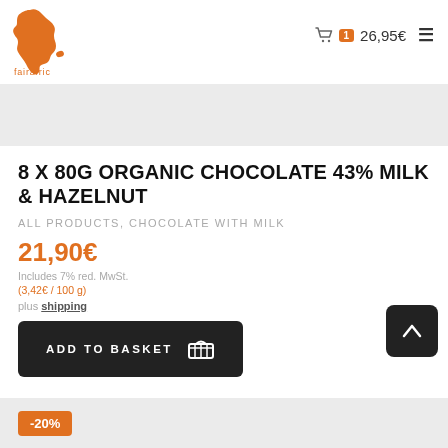[Figure (logo): fairafric logo: orange Africa continent silhouette with 'fairafric' text below]
1  26,95€  ☰
8 X 80G ORGANIC CHOCOLATE 43% MILK & HAZELNUT
ALL PRODUCTS, CHOCOLATE WITH MILK
21,90€
Includes 7% red. MwSt.
(3,42€ / 100 g)
plus shipping
ADD TO BASKET
-20%